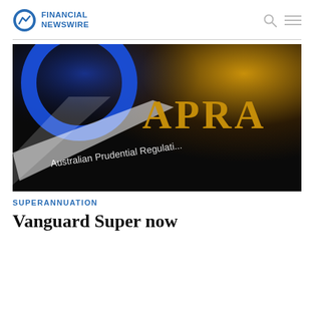FINANCIAL NEWSWIRE
[Figure (photo): Close-up photo of an APRA (Australian Prudential Regulation Authority) sign/plaque with gold letters on dark background and a blue circular logo element]
SUPERANNUATION
Vanguard Super now